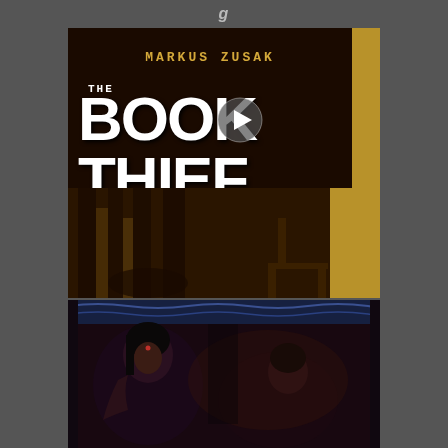[Figure (photo): Book cover of 'The Book Thief' by Markus Zusak. Dark background with large white bold text reading 'THE BOOK THIEF', author name in gold typewriter font at top 'MARKUS ZUSAK', a play button overlay in the center, gold/tan strip on right edge, and lower portion showing a dimly lit interior scene with shadowy figures and chairs.]
[Figure (photo): Bottom portion shows a dark, moody photograph of two people, appearing to be women, in a dimly lit ornate interior setting with decorative architectural elements visible in the background.]